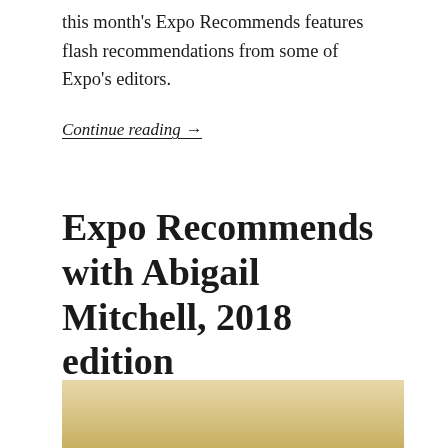this month's Expo Recommends features flash recommendations from some of Expo's editors.
Continue reading →
Expo Recommends with Abigail Mitchell, 2018 edition
January 11, 2018
Exposition Review
[Figure (photo): Partial view of a wooden surface or book cover with warm tan/golden tones, cropped at bottom of page]